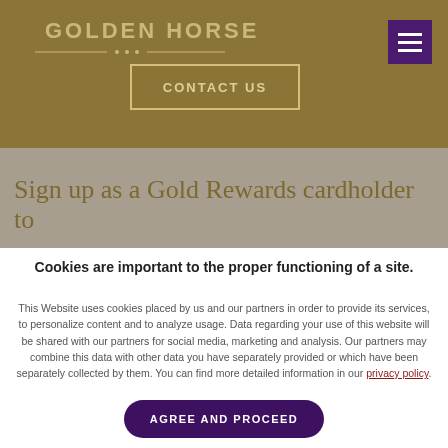[Figure (screenshot): Golden Horse website header with gold/olive background, logo text, decorative divider, Contact Us button with border, and purple hamburger menu icon]
Sign up as a Gold Rewards cardholder to
Cookies are important to the proper functioning of a site.
This Website uses cookies placed by us and our partners in order to provide its services, to personalize content and to analyze usage. Data regarding your use of this website will be shared with our partners for social media, marketing and analysis. Our partners may combine this data with other data you have separately provided or which have been separately collected by them. You can find more detailed information in our privacy policy.
AGREE AND PROCEED